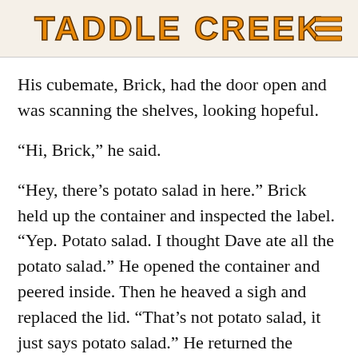TADDLE CREEK
His cubemate, Brick, had the door open and was scanning the shelves, looking hopeful.
“Hi, Brick,” he said.
“Hey, there’s potato salad in here.” Brick held up the container and inspected the label. “Yep. Potato salad. I thought Dave ate all the potato salad.” He opened the container and peered inside. Then he heaved a sigh and replaced the lid. “That’s not potato salad, it just says potato salad.” He returned the container to the fridge, one shelf